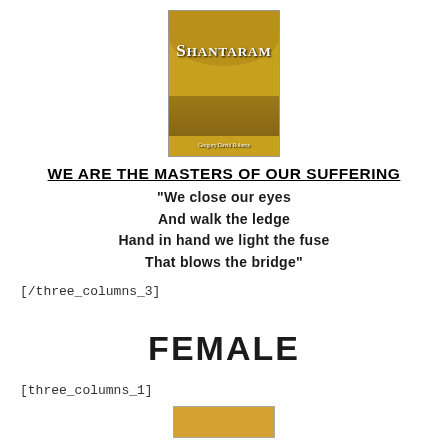[Figure (illustration): Book cover of 'Shantaram' with golden arch and decorative design]
WE ARE THE MASTERS OF OUR SUFFERING
“We close our eyes
And walk the ledge
Hand in hand we light the fuse
That blows the bridge”
[/three_columns_3]
FEMALE
[three_columns_1]
[Figure (illustration): Partial book cover image at bottom of page]